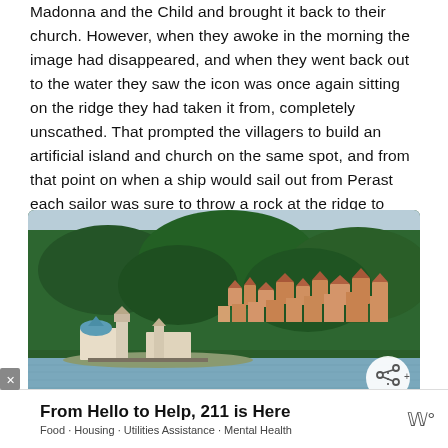Madonna and the Child and brought it back to their church. However, when they awoke in the morning the image had disappeared, and when they went back out to the water they saw the icon was once again sitting on the ridge they had taken it from, completely unscathed. That prompted the villagers to build an artificial island and church on the same spot, and from that point on when a ship would sail out from Perast each sailor was sure to throw a rock at the ridge to ensure safe passage.
[Figure (photo): A scenic photo of an island church with a blue dome in the foreground, and a hillside town with terracotta rooftops rising into a dense green forested hillside in the background, taken from across the water. A share button icon appears in the bottom right corner of the image.]
From Hello to Help, 211 is Here Food · Housing · Utilities Assistance · Mental Health